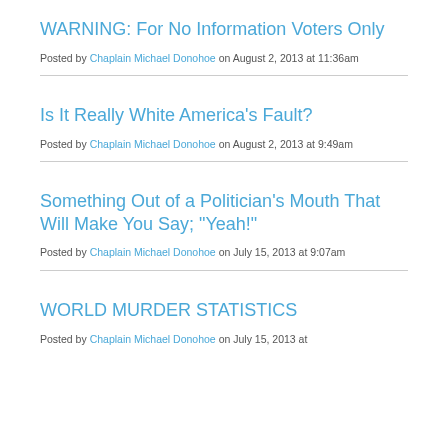WARNING: For No Information Voters Only
Posted by Chaplain Michael Donohoe on August 2, 2013 at 11:36am
Is It Really White America's Fault?
Posted by Chaplain Michael Donohoe on August 2, 2013 at 9:49am
Something Out of a Politician's Mouth That Will Make You Say; "Yeah!"
Posted by Chaplain Michael Donohoe on July 15, 2013 at 9:07am
WORLD MURDER STATISTICS
Posted by Chaplain Michael Donohoe on July 15, 2013 at